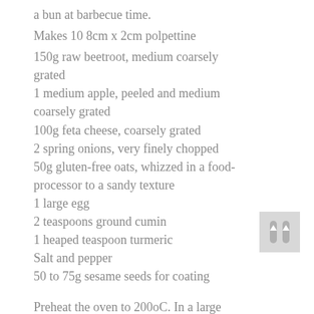a bun at barbecue time.
Makes 10 8cm x 2cm polpettine
150g raw beetroot, medium coarsely grated
1 medium apple, peeled and medium coarsely grated
100g feta cheese, coarsely grated
2 spring onions, very finely chopped
50g gluten-free oats, whizzed in a food-processor to a sandy texture
1 large egg
2 teaspoons ground cumin
1 heaped teaspoon turmeric
Salt and pepper
50 to 75g sesame seeds for coating
Preheat the oven to 200oC. In a large bowl, mix all the ingredients, except the